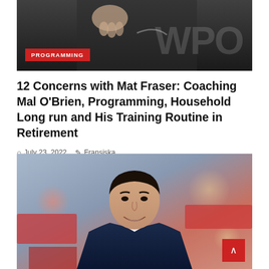[Figure (photo): A person wearing a black Nike shirt with 'WPO' text visible, cropped view showing upper body and hand gesture.]
PROGRAMMING
12 Concerns with Mat Fraser: Coaching Mal O'Brien, Programming, Household Long run and His Training Routine in Retirement
July 23, 2022   Fransiska
...
[Figure (photo): A smiling man in a navy blue suit with white shirt, photographed in front of a blurred red background interior setting.]